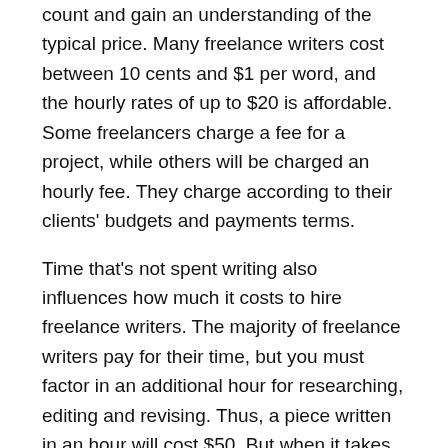count and gain an understanding of the typical price. Many freelance writers cost between 10 cents and $1 per word, and the hourly rates of up to $20 is affordable. Some freelancers charge a fee for a project, while others will be charged an hourly fee. They charge according to their clients' budgets and payments terms.
Time that's not spent writing also influences how much it costs to hire freelance writers. The majority of freelance writers pay for their time, but you must factor in an additional hour for researching, editing and revising. Thus, a piece written in an hour will cost $50. But when it takes two hours to complete it and you are considering a rate of $25 per hour. fee. That's a huge savings for both sides of the scale.
Problems with hiring a writing service